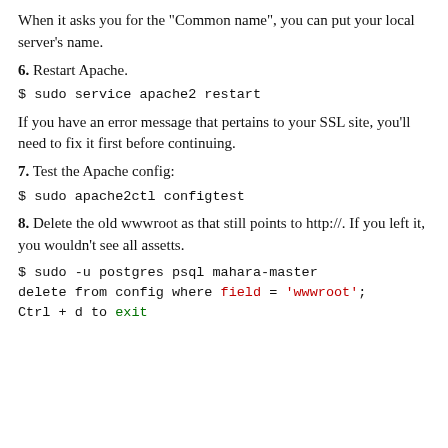When it asks you for the "Common name", you can put your local server's name.
6. Restart Apache.
$ sudo service apache2 restart
If you have an error message that pertains to your SSL site, you'll need to fix it first before continuing.
7. Test the Apache config:
$ sudo apache2ctl configtest
8. Delete the old wwwroot as that still points to http://. If you left it, you wouldn't see all assetts.
$ sudo -u postgres psql mahara-master
delete from config where field = 'wwwroot';
Ctrl + d to exit